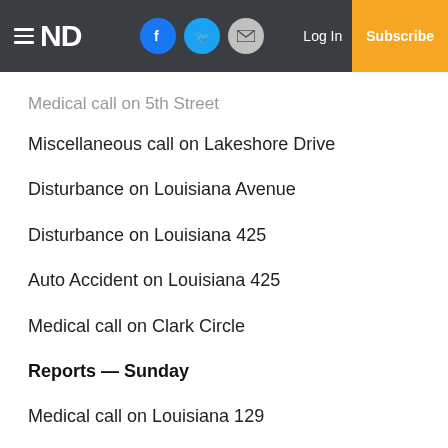ND — Log In — Subscribe
Medical call on 5th Street
Miscellaneous call on Lakeshore Drive
Disturbance on Louisiana Avenue
Disturbance on Louisiana 425
Auto Accident on Louisiana 425
Medical call on Clark Circle
Reports — Sunday
Medical call on Louisiana 129